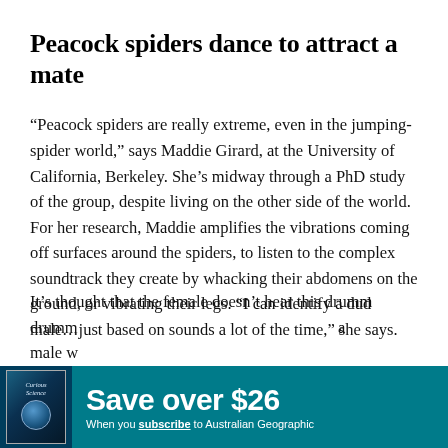Peacock spiders dance to attract a mate
“Peacock spiders are really extreme, even in the jumping-spider world,” says Maddie Girard, at the University of California, Berkeley. She’s midway through a PhD study of the group, despite living on the other side of the world. For her research, Maddie amplifies the vibrations coming off surfaces around the spiders, to listen to the complex soundtrack they create by whacking their abdomens on the ground, or vibrating their legs. “I can identify a dud male…just based on sounds a lot of the time,” she says.
It’s thought that the female doesn’t hear this drumming… a male w
[Figure (other): Advertisement banner for Australian Geographic magazine subscription. Teal/dark cyan background with book cover image on left showing a globe. Text reads 'Save over $26' in large white bold font, and 'When you subscribe to Australian Geographic' in smaller white text below.]